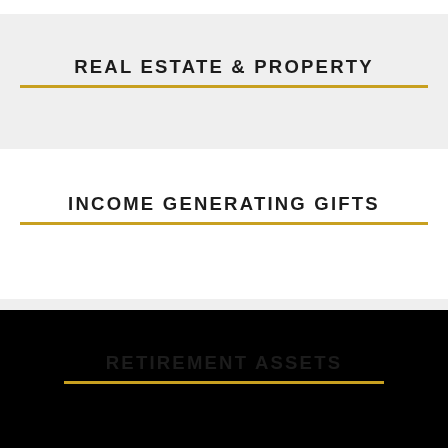REAL ESTATE & PROPERTY
INCOME GENERATING GIFTS
RETIREMENT ASSETS
LIFE INSURANCE